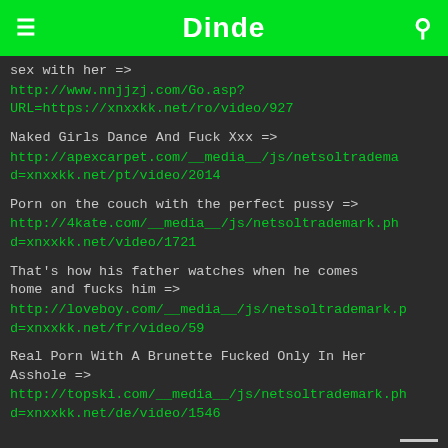Dinde
sex with her =>
http://www.nnjjzj.com/Go.asp?URL=https://xnxxkk.net/ro/video/927
Naked Girls Dance And Fuck Xxx =>
http://apexcarpet.com/__media__/js/netsoltradema d=xnxxkk.net/pt/video/2014
Porn on the couch with the perfect pussy =>
http://4kate.com/__media__/js/netsoltrademark.ph d=xnxxkk.net/video/1721
That's how his father watches when he comes home and fucks him =>
http://loveboy.com/__media__/js/netsoltrademark.p d=xnxxkk.net/fr/video/59
Real Porn With A Brunette Fucked Only In Her Asshole =>
http://topski.com/__media__/js/netsoltrademark.ph d=xnxxkk.net/de/video/1546